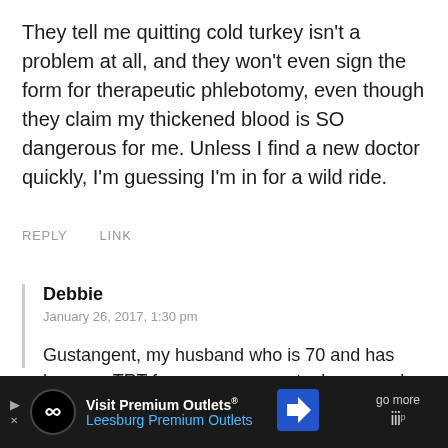They tell me quitting cold turkey isn't a problem at all, and they won't even sign the form for therapeutic phlebotomy, even though they claim my thickened blood is SO dangerous for me. Unless I find a new doctor quickly, I'm guessing I'm in for a wild ride.
REPLY    LINK
Debbie
January 26, 2017, 1:30 pm
Gustangent, my husband who is 70 and has been on TRT for many years gets dangerously high hemoglobin and hematocrit levels from this therapy. He goes to Carter Blood Care for phlebotomies. They have forms
[Figure (other): Advertisement banner for Visit Premium Outlets - Leesburg Premium Outlets with logo and navigation arrow]